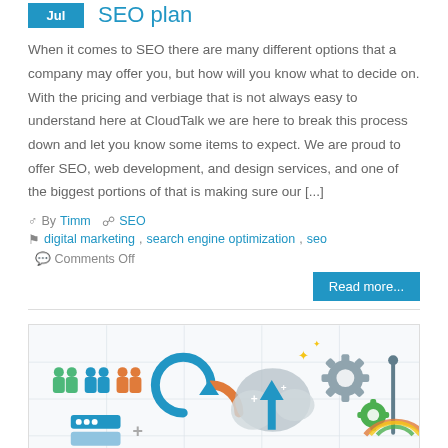SEO plan
When it comes to SEO there are many different options that a company may offer you, but how will you know what to decide on. With the pricing and verbiage that is not always easy to understand here at CloudTalk we are here to break this process down and let you know some items to expect. We are proud to offer SEO, web development, and design services, and one of the biggest portions of that is making sure our [...]
By Timm   SEO
digital marketing, search engine optimization, seo   Comments Off
Read more...
[Figure (infographic): Colorful digital marketing / cloud technology infographic showing people icons, gears, cloud with arrow, circular arrows, and a graph with upward curve]